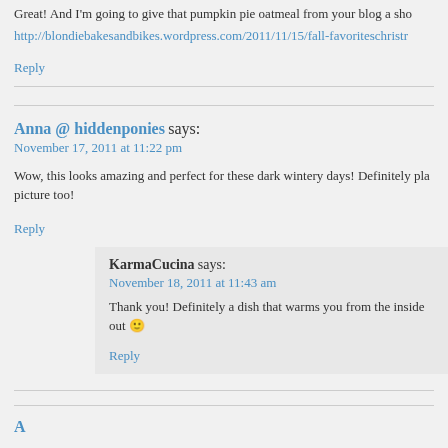Great! And I'm going to give that pumpkin pie oatmeal from your blog a sho
http://blondiebakesandbikes.wordpress.com/2011/11/15/fall-favoriteschristr
Reply
Anna @ hiddenponies says:
November 17, 2011 at 11:22 pm
Wow, this looks amazing and perfect for these dark wintery days! Definitely pla picture too!
Reply
KarmaCucina says:
November 18, 2011 at 11:43 am
Thank you! Definitely a dish that warms you from the inside out 🙂
Reply